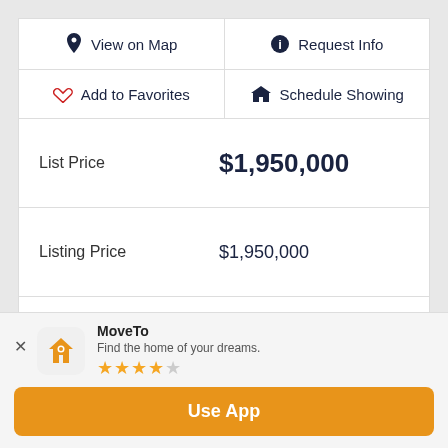View on Map
Request Info
Add to Favorites
Schedule Showing
| Field | Value |
| --- | --- |
| List Price | $1,950,000 |
| Listing Price | $1,950,000 |
| Price Change | ▼ $249,000 47 days ago |
| Days on Market | 68 |
| MLS# | 222046005 |
MoveTo — Find the home of your dreams. ★★★★☆ Use App